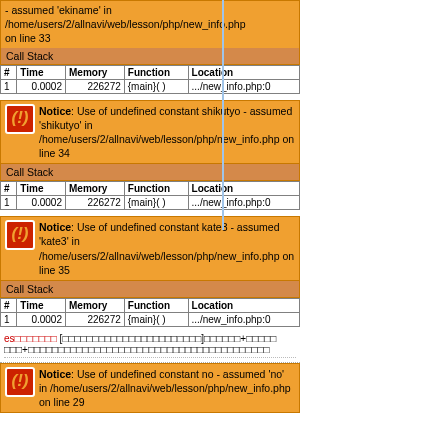- assumed 'ekiname' in /home/users/2/allnavi/web/lesson/php/new_info.php on line 33
| # | Time | Memory | Function | Location |
| --- | --- | --- | --- | --- |
| 1 | 0.0002 | 226272 | {main}( ) | .../new_info.php:0 |
Notice: Use of undefined constant shikutyo - assumed 'shikutyo' in /home/users/2/allnavi/web/lesson/php/new_info.php on line 34
| # | Time | Memory | Function | Location |
| --- | --- | --- | --- | --- |
| 1 | 0.0002 | 226272 | {main}( ) | .../new_info.php:0 |
Notice: Use of undefined constant kate3 - assumed 'kate3' in /home/users/2/allnavi/web/lesson/php/new_info.php on line 35
| # | Time | Memory | Function | Location |
| --- | --- | --- | --- | --- |
| 1 | 0.0002 | 226272 | {main}( ) | .../new_info.php:0 |
es□□□□□□□ [□□□□□□□□□□□□□□□□□□□□□□□]□□□□□□+□□□□□ □□□+□□□□□□□□□□□□□□□□□□□□□□□□□□□□□□□□□□□□
Notice: Use of undefined constant no - assumed 'no' in /home/users/2/allnavi/web/lesson/php/new_info.php on line 29